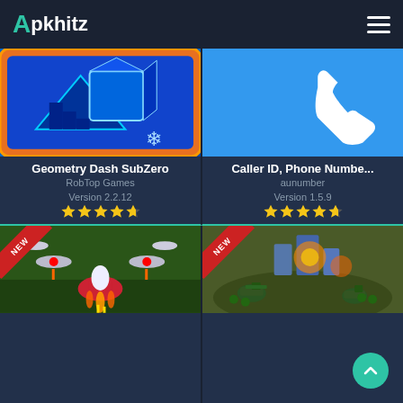Apkhitz
[Figure (screenshot): Geometry Dash SubZero app icon - blue geometric design with orange border and snowflake]
Geometry Dash SubZero
RobTop Games
Version 2.2.12
★★★★☆ (4.5 stars)
[Figure (screenshot): Caller ID Phone Number app icon - white phone icon on blue background]
Caller ID, Phone Numbe...
aunumber
Version 1.5.9
★★★★☆ (4.5 stars)
[Figure (screenshot): Space shooter game icon with NEW badge - planes and spaceships on green battlefield]
[Figure (screenshot): War strategy game icon with NEW badge - military tanks and explosions aerial view]